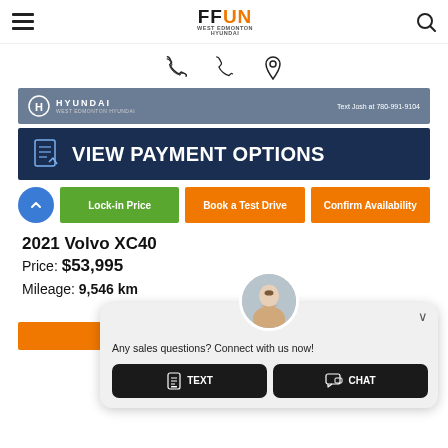FFUN WEST EDMONTON HYUNDAI
[Figure (screenshot): Hyundai West Edmonton dealership banner with logo and text 'Text Josh at 780-991-9104']
[Figure (screenshot): Dark blue banner with clipboard icon and text 'VIEW PAYMENT OPTIONS']
[Figure (screenshot): Three action buttons: Lock-in Price (green), Book a Test Drive (orange), Confirm Availability (orange), with blue circle arrow button]
2021 Volvo XC40
Price: $53,995
Mileage: 9,546 km
[Figure (screenshot): Chat popup with agent photo, question 'Any sales questions? Connect with us now!' and TEXT and CHAT buttons]